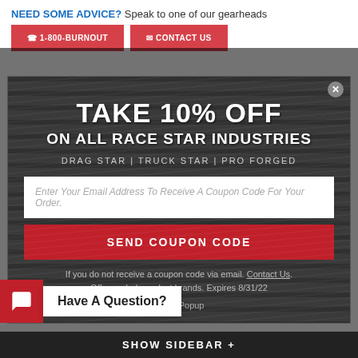NEED SOME ADVICE? Speak to one of our gearheads
[Figure (screenshot): Two red call-to-action buttons partially visible]
[Figure (infographic): Modal popup on dark wood-textured background offering 10% off on all Race Star Industries (Drag Star, Truck Star, Pro Forged). Contains email input field, Send Coupon Code button, disclaimer text, and Close Popup link.]
If you do not receive a coupon code via email. Contact Us. Offer excludes select brands. Expires 8/31/22
Have A Question?
Drag Star pricing... excellent customer service and... Drag RT-S S82 Drag Wheel 15X4 Black Low Pad 5X4.75 | 1.63 Backspace - 82LB-504B16A
SHOW SIDEBAR +